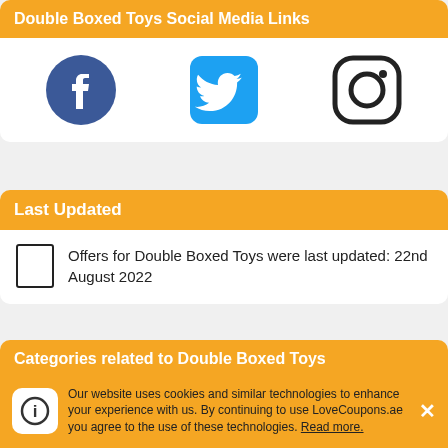Double Boxed Toys Social Media Links
[Figure (illustration): Three social media icons: Facebook (dark blue circle with F), Twitter (light blue rounded square with bird), Instagram (dark outlined rounded square with camera circle)]
Last Updated
Offers for Double Boxed Toys were last updated: 22nd August 2022
Categories related to Double Boxed Toys
♩ Music, Games & Movies
Our website uses cookies and similar technologies to enhance your experience with us. By continuing to use LoveCoupons.ae you agree to the use of these technologies. Read more.